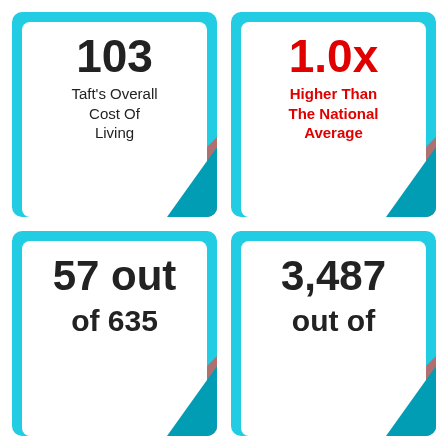[Figure (infographic): Card showing 103 - Taft's Overall Cost Of Living]
[Figure (infographic): Card showing 1.0x Higher Than The National Average in red]
[Figure (infographic): Card showing 57 out of 635]
[Figure (infographic): Card showing 3,487 out of [cut off]]